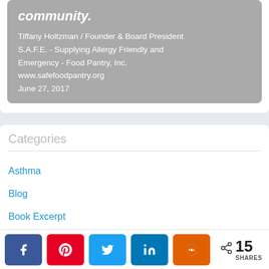community.
Tiffany Holtzman / Founder & Board President
S.A.F.E. - Supplying Allergy Friendly and Emergency - Food Pantry, Inc.
www.safefoodpantry.org
June 27, 2017
Categories
Asthma
Blog
Book Excerpt
Celebrate
15 SHARES